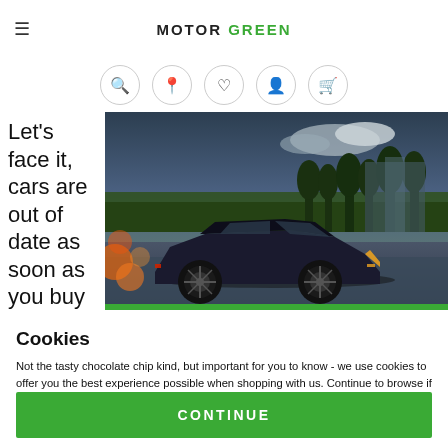MOTOR GREEN
[Figure (screenshot): Website navigation bar with icons for search, location, wishlist, account, and cart]
Let's face it, cars are out of date as soon as you buy th...
[Figure (photo): Dark blue/black Lamborghini Urus SUV driving on a wet road with mountains and trees in the background]
Cookies
Not the tasty chocolate chip kind, but important for you to know - we use cookies to offer you the best experience possible when shopping with us. Continue to browse if you're happy with our Privacy & Cookie Policy.
CONTINUE